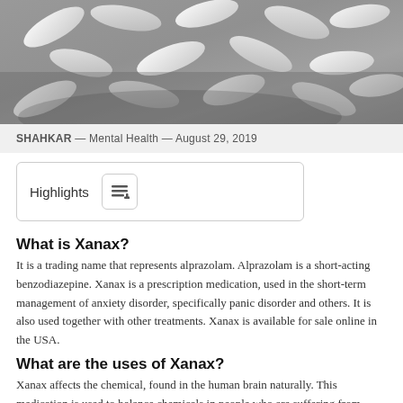[Figure (photo): Black and white photograph of pills and tablets scattered together]
SHAHKAR — Mental Health — August 29, 2019
Highlights
What is Xanax?
It is a trading name that represents alprazolam. Alprazolam is a short-acting benzodiazepine. Xanax is a prescription medication, used in the short-term management of anxiety disorder, specifically panic disorder and others. It is also used together with other treatments. Xanax is available for sale online in the USA.
What are the uses of Xanax?
Xanax affects the chemical, found in the human brain naturally. This medication is used to balance chemicals in people who are suffering from stress and anxiety. Doctors prescribe Xanax to treat various brain disorders, including panic and anxiety. Some doctors also